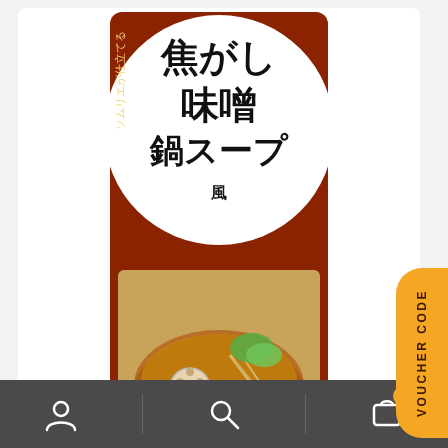[Figure (photo): Product photo of Daisho Sommelier Yasai wo Ippaitaberu Nabe Kogashi fu Miso Nabe Soup packet — Japanese hot pot soup base with dark red/brown packaging featuring Japanese text and image of nabe dish with lotus root, mushrooms, and vegetables.]
VOUCHER CODE
Daisho JP
Daisho Sommelier Yasai wo Ippaitaberu Nabe Kogashi fu Miso Nabe Soup
RM16.90
Bottom navigation bar with user, search, and cart (0) icons